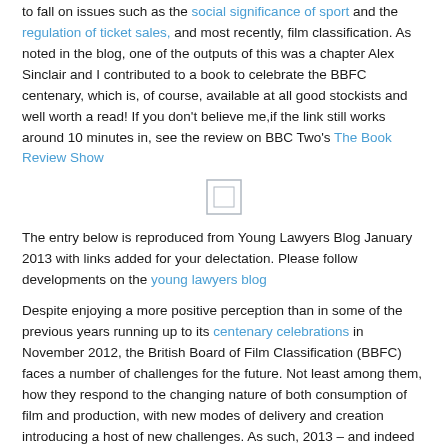to fall on issues such as the social significance of sport and the regulation of ticket sales, and most recently, film classification. As noted in the blog, one of the outputs of this was a chapter Alex Sinclair and I contributed to a book to celebrate the BBFC centenary, which is, of course, available at all good stockists and well worth a read! If you don't believe me, if the link still works around 10 minutes in, see the review on BBC Two's The Book Review Show
[Figure (other): Small placeholder image icon, possibly a broken or unloaded image thumbnail]
The entry below is reproduced from Young Lawyers Blog January 2013 with links added for your delectation. Please follow developments on the young lawyers blog
Despite enjoying a more positive perception than in some of the previous years running up to its centenary celebrations in November 2012, the British Board of Film Classification (BBFC) faces a number of challenges for the future. Not least among them, how they respond to the changing nature of both consumption of film and production, with new modes of delivery and creation introducing a host of new challenges. As such, 2013 – and indeed the next century – promises to be just as eventful as the last.
Towards the end of 2011 the BBFC was asked to classify the film The Human Centipede 2. This was initially rejected, but following a resubmission of an edited version that had 32 separate cuts, removing two minutes and 37 seconds from the original submission, the film was finally classified as an 18. This was